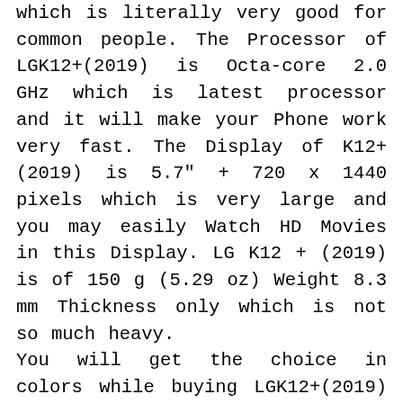which is literally very good for common people. The Processor of LGK12+(2019) is Octa-core 2.0 GHz which is latest processor and it will make your Phone work very fast. The Display of K12+(2019) is 5.7" + 720 x 1440 pixels which is very large and you may easily Watch HD Movies in this Display. LG K12 + (2019) is of 150 g (5.29 oz) Weight 8.3 mm Thickness only which is not so much heavy.
You will get the choice in colors while buying LGK12+(2019) of as per given in above section. On the other side, there are large numbers of hidden features of LG K12 + (2019) which you all will get to know after buying the Phones. If you are planning to buy a new Phone then K12+(2019) Phone may in